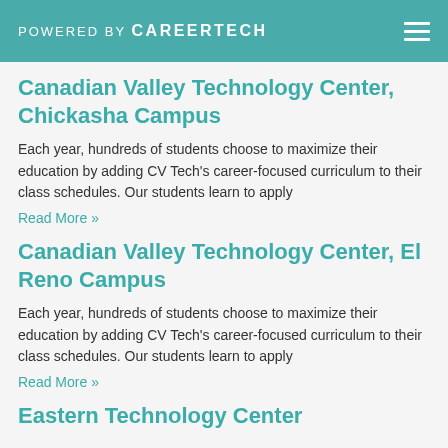POWERED BY CAREERTECH
Canadian Valley Technology Center, Chickasha Campus
Each year, hundreds of students choose to maximize their education by adding CV Tech's career-focused curriculum to their class schedules. Our students learn to apply
Read More »
Canadian Valley Technology Center, El Reno Campus
Each year, hundreds of students choose to maximize their education by adding CV Tech's career-focused curriculum to their class schedules. Our students learn to apply
Read More »
Eastern Technology Center